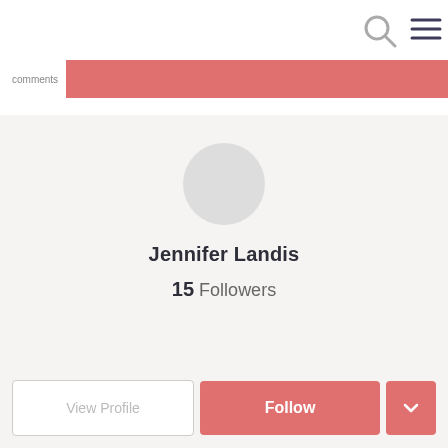[Figure (screenshot): Top navigation bar with search icon and hamburger menu icon on white background]
comments
Jennifer Landis
15 Followers
View Profile
Follow